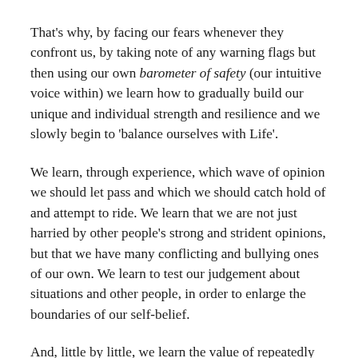That's why, by facing our fears whenever they confront us, by taking note of any warning flags but then using our own barometer of safety (our intuitive voice within) we learn how to gradually build our unique and individual strength and resilience and we slowly begin to 'balance ourselves with Life'.
We learn, through experience, which wave of opinion we should let pass and which we should catch hold of and attempt to ride. We learn that we are not just harried by other people's strong and strident opinions, but that we have many conflicting and bullying ones of our own. We learn to test our judgement about situations and other people, in order to enlarge the boundaries of our self-belief.
And, little by little, we learn the value of repeatedly